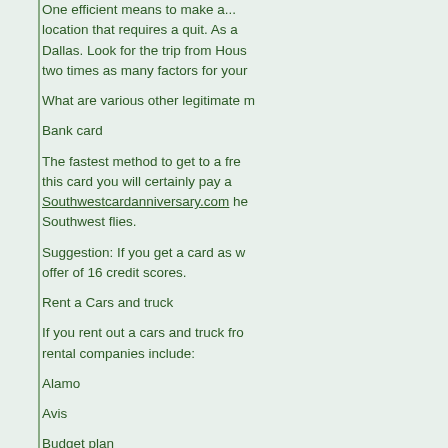One efficient means to make a... location that requires a quit. As a... Dallas. Look for the trip from Hous... two times as many factors for your...
What are various other legitimate m...
Bank card
The fastest method to get to a fre... this card you will certainly pay a... Southwestcardanniversary.com he... Southwest flies.
Suggestion: If you get a card as w... offer of 16 credit scores.
Rent a Cars and truck
If you rent out a cars and truck fro... rental companies include:
Alamo
Avis
Budget plan